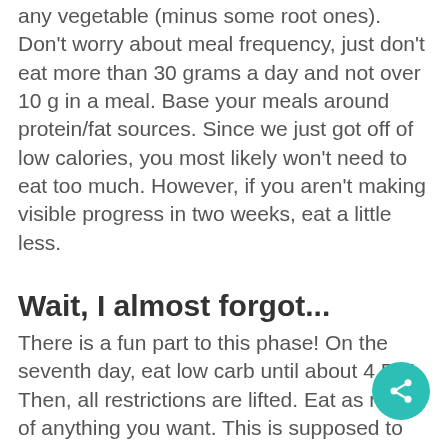any vegetable (minus some root ones). Don't worry about meal frequency, just don't eat more than 30 grams a day and not over 10 g in a meal. Base your meals around protein/fat sources. Since we just got off of low calories, you most likely won't need to eat too much. However, if you aren't making visible progress in two weeks, eat a little less.
Wait, I almost forgot...
There is a fun part to this phase! On the seventh day, eat low carb until about 4 P.M. Then, all restrictions are lifted. Eat as much of anything you want. This is supposed to be a high carb time period. Load up on the carbs from any source